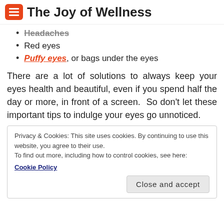The Joy of Wellness
Headaches
Red eyes
Puffy eyes, or bags under the eyes
There are a lot of solutions to always keep your eyes health and beautiful, even if you spend half the day or more, in front of a screen.  So don't let these important tips to indulge your eyes go unnoticed.
Privacy & Cookies: This site uses cookies. By continuing to use this website, you agree to their use.
To find out more, including how to control cookies, see here:
Cookie Policy
Close and accept